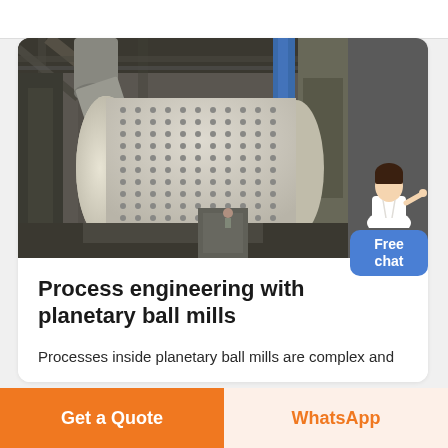[Figure (photo): Industrial ball mill inside a factory building. Large horizontal cylindrical drum with bolted/studded exterior surface, supported by a large industrial structure with blue vertical columns and overhead framework. A large pipe/duct enters from the upper left.]
Process engineering with planetary ball mills
Processes inside planetary ball mills are complex and